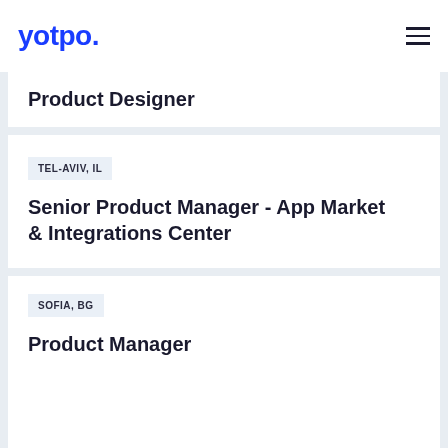yotpo.
Product Designer
TEL-AVIV, IL
Senior Product Manager - App Market & Integrations Center
SOFIA, BG
Product Manager